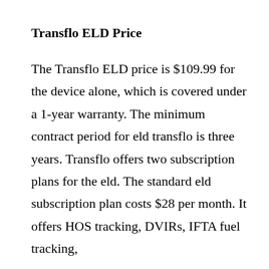Transflo ELD Price
The Transflo ELD price is $109.99 for the device alone, which is covered under a 1-year warranty. The minimum contract period for eld transflo is three years. Transflo offers two subscription plans for the eld. The standard eld subscription plan costs $28 per month. It offers HOS tracking, DVIRs, IFTA fuel tracking,